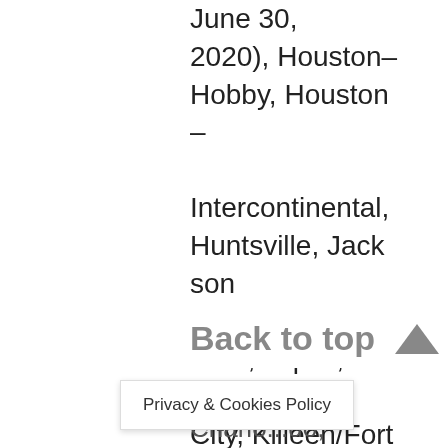June 30, 2020), Houston–Hobby, Houston–Intercontinental, Huntsville, Jackson (MS), Jackson Hole, Joplin, Kansas City, Killeen/Fort Hood, Knoxville,
Back to top
Privacy & Cookies Policy
Charlotte...Do,